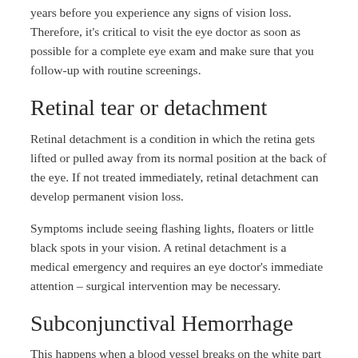years before you experience any signs of vision loss. Therefore, it's critical to visit the eye doctor as soon as possible for a complete eye exam and make sure that you follow-up with routine screenings.
Retinal tear or detachment
Retinal detachment is a condition in which the retina gets lifted or pulled away from its normal position at the back of the eye. If not treated immediately, retinal detachment can develop permanent vision loss.
Symptoms include seeing flashing lights, floaters or little black spots in your vision. A retinal detachment is a medical emergency and requires an eye doctor's immediate attention – surgical intervention may be necessary.
Subconjunctival Hemorrhage
This happens when a blood vessel breaks on the white part of the eye. In addition to a sport-related injury, it can be